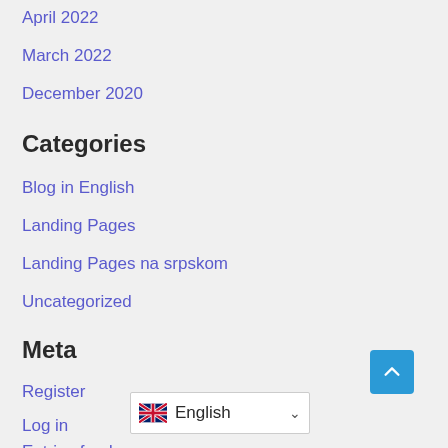April 2022
March 2022
December 2020
Categories
Blog in English
Landing Pages
Landing Pages na srpskom
Uncategorized
Meta
Register
Log in
Entries feed
[Figure (other): Back to top button (blue square with up arrow chevron)]
[Figure (other): Language selector showing UK flag and 'English' with dropdown arrow]